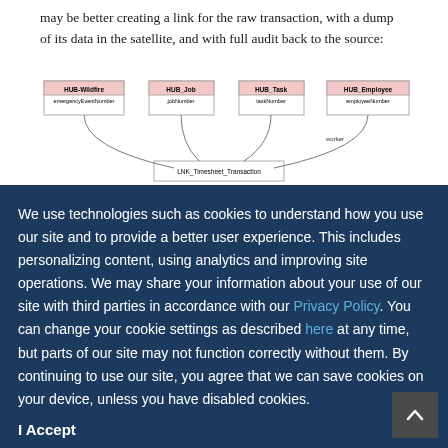may be better creating a link for the raw transaction, with a dump of its data in the satellite, and with full audit back to the source:
[Figure (engineering-diagram): Entity-relationship diagram showing HUB-Wildfire (emergencyEventNumber), HUB_Job (jobNumber), HUB_Task (taskNumber), HUB_Employee (employeeNumber) connected to LNK_Timesheet_Transaction with 'worker' relationship label]
We use technologies such as cookies to understand how you use our site and to provide a better user experience. This includes personalizing content, using analytics and improving site operations. We may share your information about your use of our site with third parties in accordance with our Privacy Policy. You can change your cookie settings as described here at any time, but parts of our site may not function correctly without them. By continuing to use our site, you agree that we can save cookies on your device, unless you have disabled cookies.
I Accept